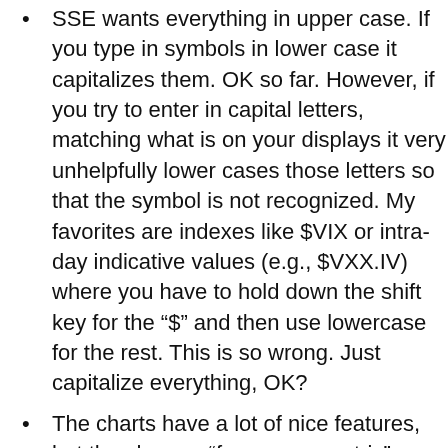SSE wants everything in upper case.  If you type in symbols in lower case it capitalizes them.  OK so far. However, if you try to enter in capital letters, matching what is on your displays it very unhelpfully lower cases those letters so that the symbol is not recognized.   My favorites are indexes like $VIX or intra-day indicative values (e.g., $VXX.IV) where you have to hold down the shift key for the “$” and then use lowercase for the rest. This is so wrong.  Just capitalize everything, OK?
The charts have a lot of nice features, but they have a “frequency centric” approach.  You must pick the frequency (e.g., 1 minute or daily) and then the chart then picks the duration (e.g., 5 days or 254 days).   This is bass-ackwards—I want to pick the duration and then have the package provide the